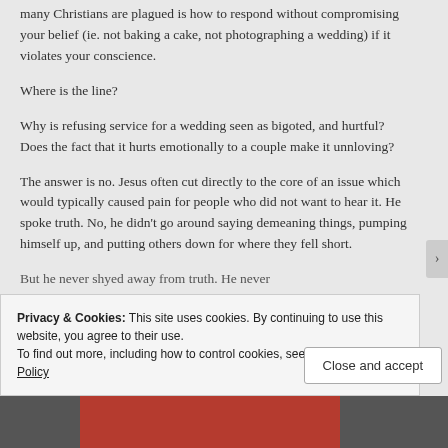many Christians are plagued is how to respond without compromising your belief (ie. not baking a cake, not photographing a wedding) if it violates your conscience.
Where is the line?
Why is refusing service for a wedding seen as bigoted, and hurtful? Does the fact that it hurts emotionally to a couple make it unnloving?
The answer is no. Jesus often cut directly to the core of an issue which would typically caused pain for people who did not want to hear it. He spoke truth. No, he didn't go around saying demeaning things, pumping himself up, and putting others down for where they fell short. But he never shyed away from truth. He never…
Privacy & Cookies: This site uses cookies. By continuing to use this website, you agree to their use.
To find out more, including how to control cookies, see here: Cookie Policy